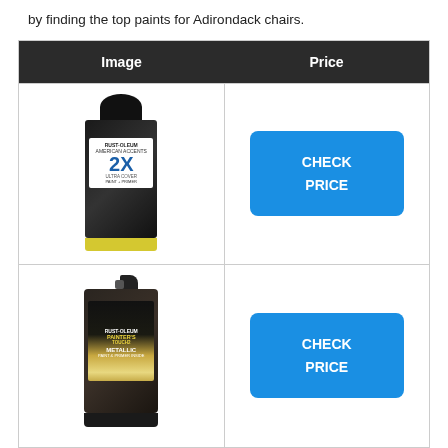by finding the top paints for Adirondack chairs.
| Image | Price |
| --- | --- |
| [spray can 1 image] | CHECK PRICE |
| [spray can 2 image] | CHECK PRICE |
| [paint can image] | CHECK PRICE |